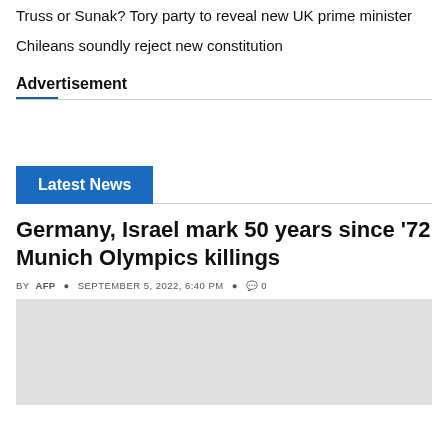Truss or Sunak? Tory party to reveal new UK prime minister
Chileans soundly reject new constitution
Advertisement
Latest News
Germany, Israel mark 50 years since '72 Munich Olympics killings
BY AFP  SEPTEMBER 5, 2022, 6:40 PM  0
[Figure (photo): Article image placeholder (gray rectangle)]